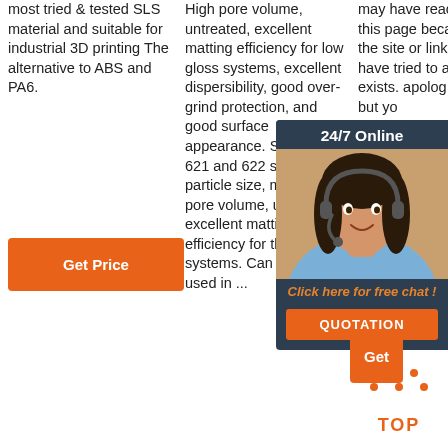most tried & tested SLS material and suitable for industrial 3D printing The alternative to ABS and PA6.
[Figure (other): Orange 'Get Price' button]
High pore volume, untreated, excellent matting efficiency for low gloss systems, excellent dispersibility, good over-grind protection, and good surface appearance. SYLOID® 621 and 622 silica: Large particle size, medium pore volume, untreated, excellent matting efficiency for thick film systems. Can also be used in ...
may have reached this page because the site or link you have tried to access exists. apolog inconv but yo
[Figure (other): 24/7 Online chat widget with agent photo, 'Click here for free chat!' text, and QUOTATION button]
[Figure (other): Orange 'Get' partial button (col3)]
[Figure (other): Orange TOP icon with dots arranged in triangle above 'TOP' text]